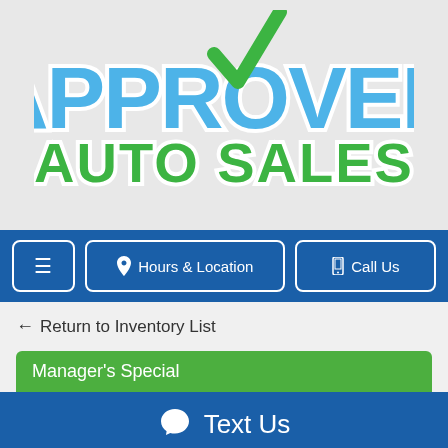[Figure (logo): Approved Auto Sales logo: 'APPROVED' in bold blue letters with a green checkmark replacing the 'V', and 'AUTO SALES' in bold green letters below]
≡  Hours & Location  Call Us
← Return to Inventory List
Manager's Special
Text Us